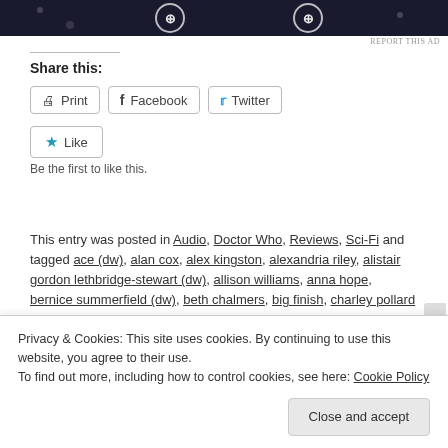[Figure (other): Dark banner advertisement at top of page]
REPORT THIS AD
Share this:
Print   Facebook   Twitter
★ Like
Be the first to like this.
This entry was posted in Audio, Doctor Who, Reviews, Sci-Fi and tagged ace (dw), alan cox, alex kingston, alexandria riley, alistair gordon lethbridge-stewart (dw), allison williams, anna hope, bernice summerfield (dw), beth chalmers, big finish, charley pollard (dw),
Privacy & Cookies: This site uses cookies. By continuing to use this website, you agree to their use.
To find out more, including how to control cookies, see here: Cookie Policy
Close and accept